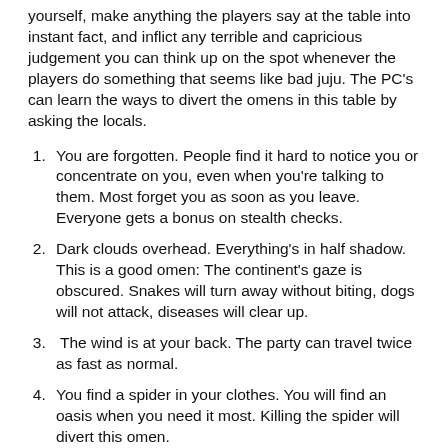yourself, make anything the players say at the table into instant fact, and inflict any terrible and capricious judgement you can think up on the spot whenever the players do something that seems like bad juju. The PC's can learn the ways to divert the omens in this table by asking the locals.
You are forgotten. People find it hard to notice you or concentrate on you, even when you're talking to them. Most forget you as soon as you leave. Everyone gets a bonus on stealth checks.
Dark clouds overhead. Everything's in half shadow. This is a good omen: The continent's gaze is obscured. Snakes will turn away without biting, dogs will not attack, diseases will clear up.
The wind is at your back. The party can travel twice as fast as normal.
You find a spider in your clothes. You will find an oasis when you need it most. Killing the spider will divert this omen.
A bee lands on your head without stinging you. Animals will be friendly today.